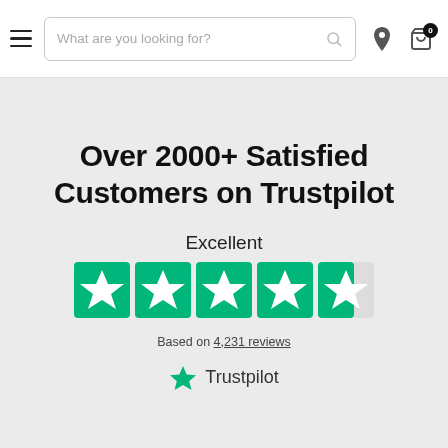Navigation header with hamburger menu, search bar, location icon, and cart icon (0 items)
Over 2000+ Satisfied Customers on Trustpilot
Excellent
[Figure (other): Trustpilot 5-star rating widget showing 4.5 green stars]
Based on 4,231 reviews
[Figure (logo): Trustpilot logo with green star icon and Trustpilot wordmark]